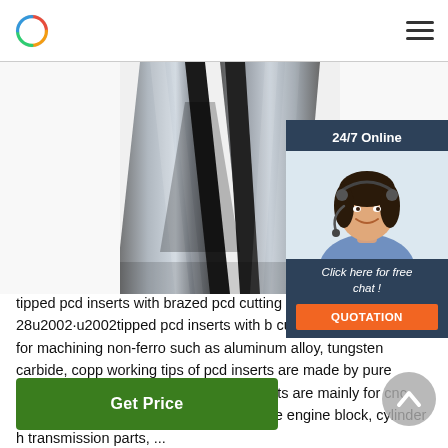Logo and navigation menu
[Figure (photo): Close-up photo of two metallic PCD cutting inserts arranged in a V shape, showing the brazed diamond cutting edges. Silver/grey metallic appearance with machined surfaces.]
[Figure (infographic): 24/7 Online chat popup overlay in dark navy/slate blue background, showing a female customer service representative wearing a headset and smiling, with text 'Click here for free chat!' and an orange QUOTATION button.]
tipped pcd inserts with brazed pcd cutting edge 2020-4-28u2002·u2002tipped pcd inserts with brazed cutting edges are used for machining non-ferrous such as aluminum alloy, tungsten carbide, copp working tips of pcd inserts are made by pure polycrystalline diamond, pcd tipped inserts are mainly for cnc continuous turning and milling automobile engine block, cylinder h transmission parts, ...
Get Price